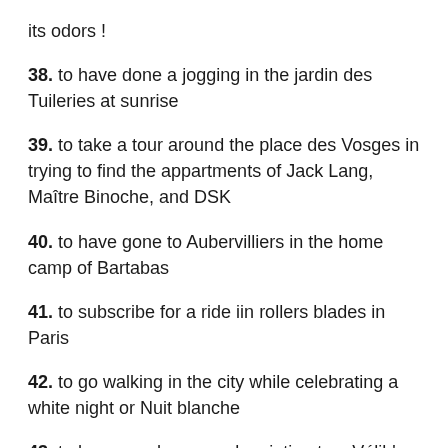its odors !
38.  to have done a jogging in the jardin des Tuileries at sunrise
39.  to take a tour around the place des Vosges in trying to find the appartments of Jack Lang, Maître Binoche, and DSK
40.  to have gone to Aubervilliers in the home camp of Bartabas
41.  to subscribe for a ride iin rollers blades in Paris
42.  to go walking in the city while celebrating a white night or Nuit blanche
43.  to have purchase a subscription to a Vélib'